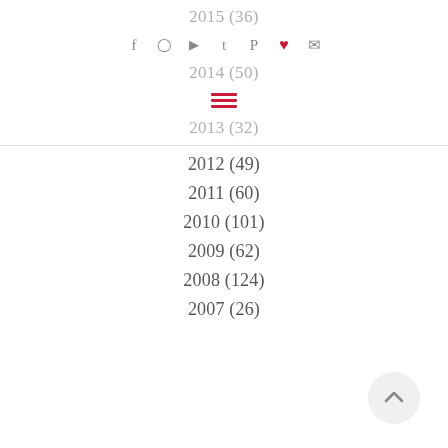2015 (36)
2014 (50)
2013 (32)
2012 (49)
2011 (60)
2010 (101)
2009 (62)
2008 (124)
2007 (26)